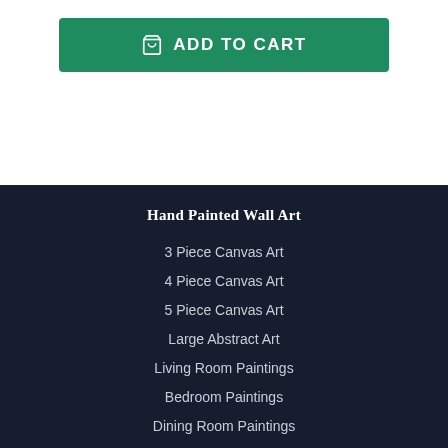[Figure (other): Green Add to Cart button with shopping cart icon]
Hand Painted Wall Art
3 Piece Canvas Art
4 Piece Canvas Art
5 Piece Canvas Art
Large Abstract Art
Living Room Paintings
Bedroom Paintings
Dining Room Paintings
Art for Sale